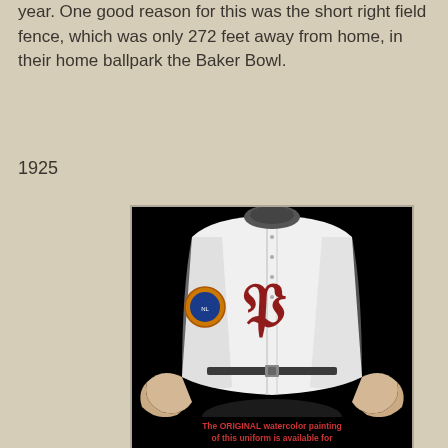year. One good reason for this was the short right field fence, which was only 272 feet away from home, in their home ballpark the Baker Bowl.
1925
[Figure (illustration): Watercolor illustration of a 1925 Philadelphia Phillies baseball uniform on a headless mannequin torso, white jersey with large red gothic 'P', orange/blue circular patch on sleeve, grey/dark cap, belt visible, black background.]
The ORIGINAL watercolor painting of this uniform is available for...